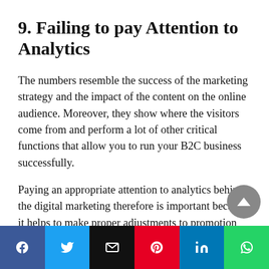9. Failing to pay Attention to Analytics
The numbers resemble the success of the marketing strategy and the impact of the content on the online audience. Moreover, they show where the visitors come from and perform a lot of other critical functions that allow you to run your B2C business successfully.
Paying an appropriate attention to analytics behind the digital marketing therefore is important because it helps to make proper adjustments to promotion strategies, maintain the credibility and
[Figure (infographic): Social media sharing bar with buttons for Facebook, Twitter, Email, Pinterest, LinkedIn, and WhatsApp]